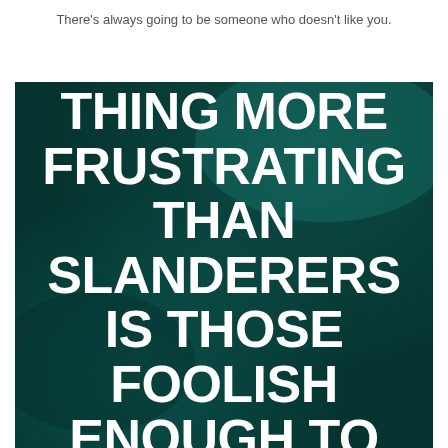There's always going to be someone who doesn't like you.
[Figure (illustration): Dark teal/green textured background with large white bold uppercase text: 'THE ONLY THING MORE FRUSTRATING THAN SLANDERERS IS THOSE FOOLISH ENOUGH TO LISTEN']